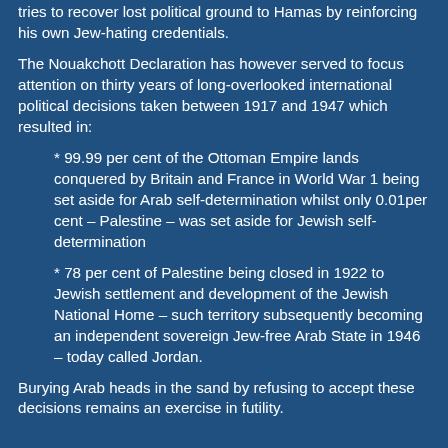tries to recover lost political ground to Hamas by reinforcing his own Jew-hating credentials.
The Nouakchott Declaration has however served to focus attention on thirty years of long-overlooked international political decisions taken between 1917 and 1947 which resulted in:
* 99.99 per cent of the Ottoman Empire lands conquered by Britain and France in World War 1 being set aside for Arab self-determination whilst only 0.01per cent – Palestine – was set aside for Jewish self-determination
* 78 per cent of Palestine being closed in 1922 to Jewish settlement and development of the Jewish National Home – such territory subsequently becoming an independent sovereign Jew-free Arab State in 1946 – today called Jordan.
Burying Arab heads in the sand by refusing to accept these decisions remains an exercise in futility.